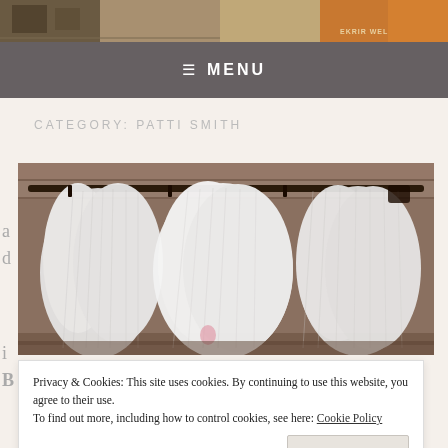[Figure (photo): Top banner showing a collage/street scene with vintage imagery, signs, and textures including the text EKRIR WEL]
≡  MENU
CATEGORY: PATTI SMITH
[Figure (photo): Photograph of large white feathery or fabric pieces hanging from a metal rod against a brick wall background]
Privacy & Cookies: This site uses cookies. By continuing to use this website, you agree to their use.
To find out more, including how to control cookies, see here: Cookie Policy
Close and accept
FRENCH CURSE